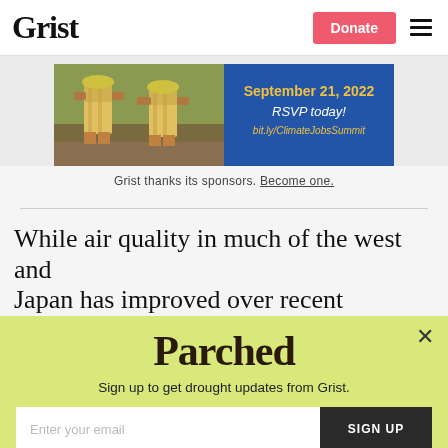Grist | Donate
[Figure (photo): Banner advertisement showing construction workers in yellow vests on the left, and a blue panel on the right with text: September 21, 2022 / RSVP today! / bit.ly/ClimateJobsSummit]
Grist thanks its sponsors. Become one.
While air quality in much of the west and Japan has improved over recent decades, it's
Parched
Sign up to get drought updates from Grist.
Enter your email
SIGN UP
No thanks